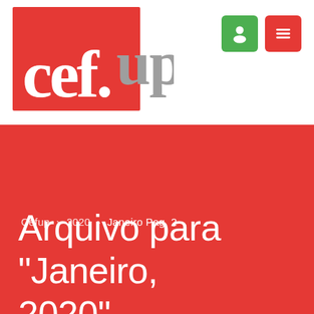[Figure (logo): CEF.UP logo: red rectangle with white 'cef.' text and grey 'up' text]
[Figure (infographic): Navigation icons: green user/person icon button and red hamburger menu button]
Cefup > 2020 > Janeiro Pag. 2
Arquivo para "Janeiro, 2020"